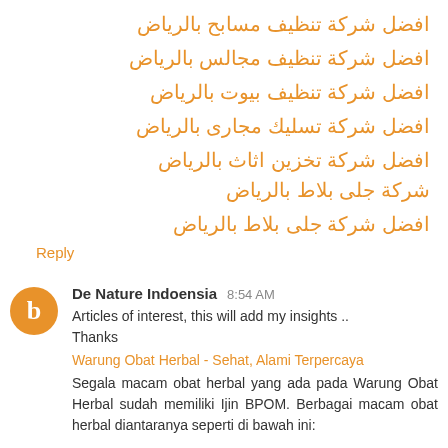افضل شركة تنظيف مسابح بالرياض
افضل شركة تنظيف مجالس بالرياض
افضل شركة تنظيف بيوت بالرياض
افضل شركة تسليك مجارى بالرياض
افضل شركة تخزين اثاث بالرياض
شركة جلى بلاط بالرياض
افضل شركة جلى بلاط بالرياض
Reply
De Nature Indoensia  8:54 AM
Articles of interest, this will add my insights ..
Thanks
Warung Obat Herbal - Sehat, Alami Terpercaya
Segala macam obat herbal yang ada pada Warung Obat Herbal sudah memiliki Ijin BPOM. Berbagai macam obat herbal diantaranya seperti di bawah ini: